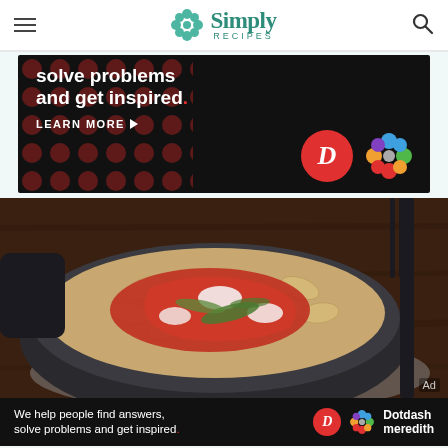Simply Recipes
[Figure (screenshot): Advertisement banner with dark background, polka dot pattern, text 'solve problems and get inspired.' with LEARN MORE button, D logo and Dotdash Meredith logo]
[Figure (photo): Top-down photo of a dark bowl filled with shell pasta topped with red tomato sauce, white cheese, and fresh green herbs, on a wooden table with a fork]
[Figure (screenshot): Bottom advertisement banner: 'We help people find answers, solve problems and get inspired.' with D logo and Dotdash meredith branding]